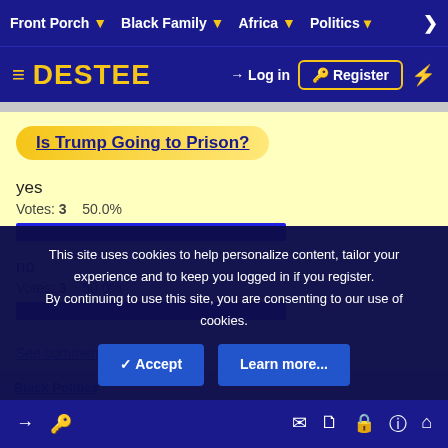Front Porch  Black Family  Africa  Politics  >
≡ DESTEE  Log in  Register  ⚡
Is Trump Going to Prison?
yes
Votes: 3   50.0%
no
Votes: 3   50.0%
See comments...
This site uses cookies to help personalize content, tailor your experience and to keep you logged in if you register.
By continuing to use this site, you are consenting to our use of cookies.
✓ Accept   Learn more...
→ 🔑  ✉ 🗋 🔒 ℹ 🏠